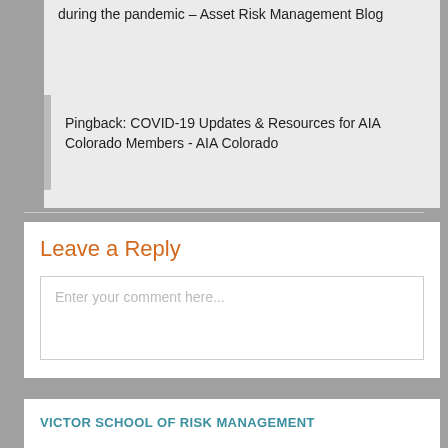during the pandemic – Asset Risk Management Blog
Pingback: COVID-19 Updates & Resources for AIA Colorado Members - AIA Colorado
Leave a Reply
Enter your comment here...
VICTOR SCHOOL OF RISK MANAGEMENT